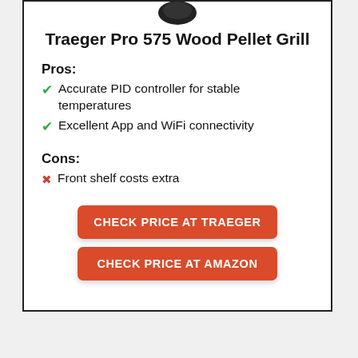[Figure (logo): Small dark circular logo/emblem at top center of card]
Traeger Pro 575 Wood Pellet Grill
Pros:
Accurate PID controller for stable temperatures
Excellent App and WiFi connectivity
Cons:
Front shelf costs extra
CHECK PRICE AT TRAEGER
CHECK PRICE AT AMAZON